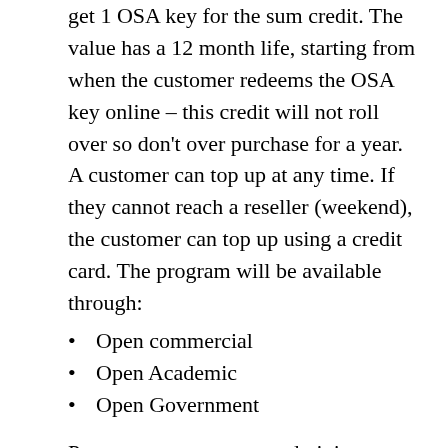get 1 OSA key for the sum credit. The value has a 12 month life, starting from when the customer redeems the OSA key online – this credit will not roll over so don't over purchase for a year. A customer can top up at any time. If they cannot reach a reseller (weekend), the customer can top up using a credit card. The program will be available through:
Open commercial
Open Academic
Open Government
Partners can request co-administrator accounts on their customers' accounts to help them manage their service. Alerts can be configured for the reseller to plan ahead and